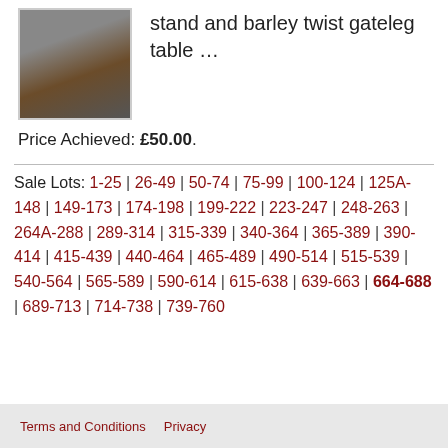[Figure (photo): Photograph of wooden furniture legs, likely a table or stand]
stand and barley twist gateleg table …
Price Achieved: £50.00.
Sale Lots: 1-25 | 26-49 | 50-74 | 75-99 | 100-124 | 125A-148 | 149-173 | 174-198 | 199-222 | 223-247 | 248-263 | 264A-288 | 289-314 | 315-339 | 340-364 | 365-389 | 390-414 | 415-439 | 440-464 | 465-489 | 490-514 | 515-539 | 540-564 | 565-589 | 590-614 | 615-638 | 639-663 | 664-688 | 689-713 | 714-738 | 739-760
Terms and Conditions   Privacy